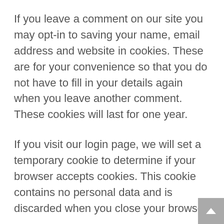If you leave a comment on our site you may opt-in to saving your name, email address and website in cookies. These are for your convenience so that you do not have to fill in your details again when you leave another comment. These cookies will last for one year.
If you visit our login page, we will set a temporary cookie to determine if your browser accepts cookies. This cookie contains no personal data and is discarded when you close your browser.
When you log in, we will also set up several cookies to save your login information and your screen display choices. Login cookies last for two days, and screen options cookies last for a year. If you select